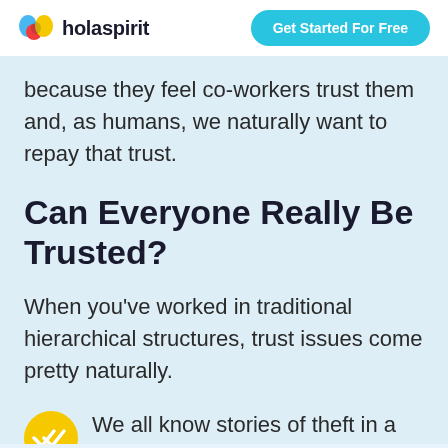holaspirit | Get Started For Free
because they feel co-workers trust them and, as humans, we naturally want to repay that trust.
Can Everyone Really Be Trusted?
When you've worked in traditional hierarchical structures, trust issues come pretty naturally.
We all know stories of theft in a warehouse that needed additional